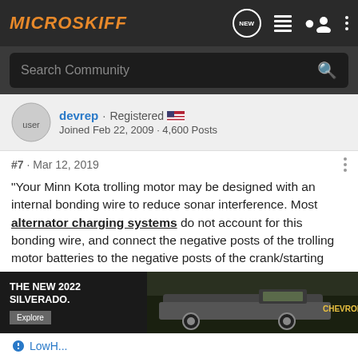MICROSKIFF
Search Community
devrep · Registered
Joined Feb 22, 2009 · 4,600 Posts
#7 · Mar 12, 2019
"Your Minn Kota trolling motor may be designed with an internal bonding wire to reduce sonar interference. Most alternator charging systems do not account for this bonding wire, and connect the negative posts of the trolling motor batteries to the negative posts of the crank/starting battery. These external connections can damage connected electronics and the electrical system of your trolling motor, voiding your warranty. Review your charger's manual carefully or consult the manufacturer prior to use to ensure your charger is compatible."
[Figure (photo): Advertisement for The New 2022 Silverado by Chevrolet, showing a Chevy truck in an outdoor setting]
LowH...